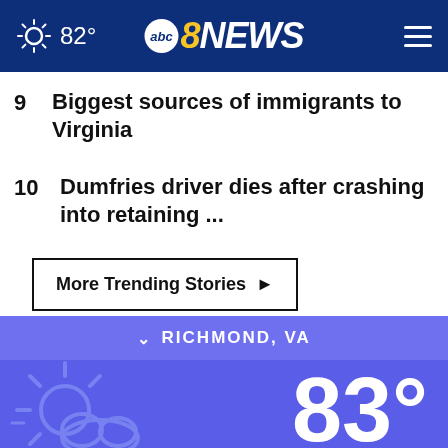82° abc8NEWS
9  Biggest sources of immigrants to Virginia
10  Dumfries driver dies after crashing into retaining ...
More Trending Stories ▶
∨ RICHMOND, VA
83°